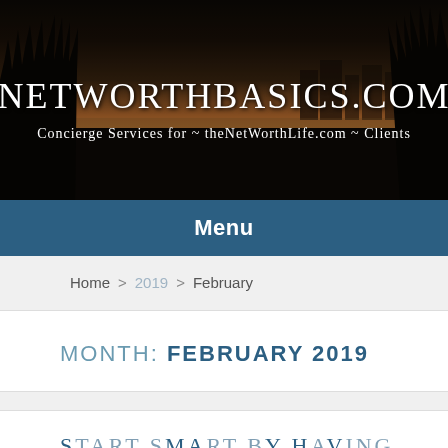[Figure (photo): Header image with beach/coastal scene at sunset with grass silhouettes, showing the website banner for networthbasics.com]
NETWORTHBASICS.COM
Concierge Services for ~ theNetWorthLife.com ~ Clients
Menu
Home > 2019 > February
MONTH: FEBRUARY 2019
S...